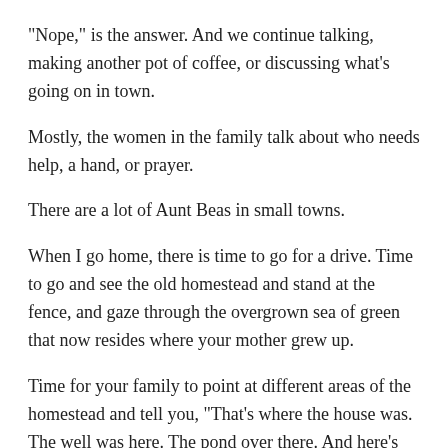"Nope," is the answer. And we continue talking, making another pot of coffee, or discussing what's going on in town.
Mostly, the women in the family talk about who needs help, a hand, or prayer.
There are a lot of Aunt Beas in small towns.
When I go home, there is time to go for a drive. Time to go and see the old homestead and stand at the fence, and gaze through the overgrown sea of green that now resides where your mother grew up.
Time for your family to point at different areas of the homestead and tell you, "That's where the house was. The well was here. The pond over there. And here's where the barn sat."
Time to go to Herb's for a burger and ice cream. Just like folks have done since Ike was president.